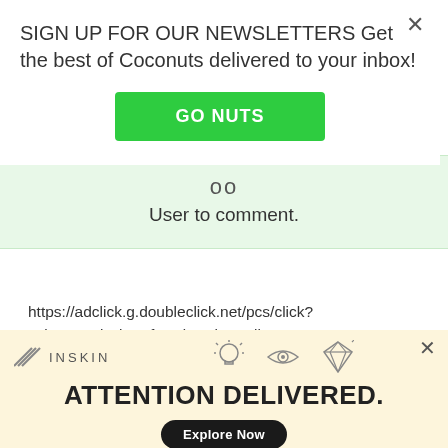SIGN UP FOR OUR NEWSLETTERS Get the best of Coconuts delivered to your inbox!
GO NUTS
User to comment.
https://adclick.g.doubleclick.net/pcs/click?xai=AKAOjsvk-xXf5Wd_4HkxI0NjkUc-
[Figure (screenshot): Inskin ad banner with logo, icons (lightbulb, eye, diamond), headline ATTENTION DELIVERED., and Explore Now button]
ATTENTION DELIVERED.
Explore Now